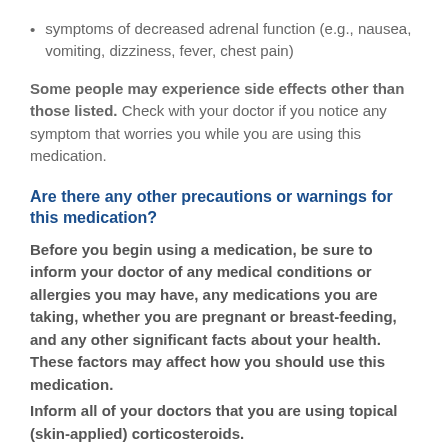symptoms of decreased adrenal function (e.g., nausea, vomiting, dizziness, fever, chest pain)
Some people may experience side effects other than those listed. Check with your doctor if you notice any symptom that worries you while you are using this medication.
Are there any other precautions or warnings for this medication?
Before you begin using a medication, be sure to inform your doctor of any medical conditions or allergies you may have, any medications you are taking, whether you are pregnant or breast-feeding, and any other significant facts about your health. These factors may affect how you should use this medication.
Inform all of your doctors that you are using topical (skin-applied) corticosteroids.
Absorption: When clobetasol 17 – propionate is used over